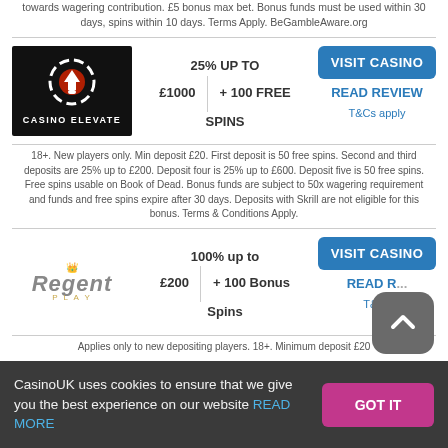towards wagering contribution. £5 bonus max bet. Bonus funds must be used within 30 days, spins within 10 days. Terms Apply. BeGambleAware.org
[Figure (logo): Casino Elevate logo - black background with circular arrow/spade icon]
25% UP TO £1000 + 100 FREE SPINS
VISIT CASINO
READ REVIEW
T&Cs apply
18+. New players only. Min deposit £20. First deposit is 50 free spins. Second and third deposits are 25% up to £200. Deposit four is 25% up to £600. Deposit five is 50 free spins. Free spins usable on Book of Dead. Bonus funds are subject to 50x wagering requirement and funds and free spins expire after 30 days. Deposits with Skrill are not eligible for this bonus. Terms & Conditions Apply.
[Figure (logo): Regent Play logo]
100% up to £200 + 100 Bonus Spins
VISIT CASINO
READ R...
T&Cs
Applies only to new depositing players. 18+. Minimum deposit £20
CasinoUK uses cookies to ensure that we give you the best experience on our website READ MORE
GOT IT